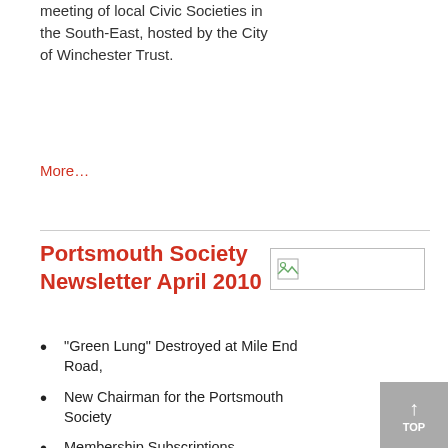meeting of local Civic Societies in the South-East, hosted by the City of Winchester Trust.
More…
Portsmouth Society Newsletter April 2010
[Figure (photo): Placeholder image thumbnail with broken image icon]
“Green Lung” Destroyed at Mile End Road,
New Chairman for the Portsmouth Society
Membership Subscriptions
A Message from Celia Clark
Introducing Bob Adderley